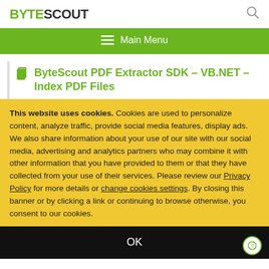BYTESCOUT
ByteScout PDF Extractor SDK – VB.NET – Index PDF Files
This website uses cookies. Cookies are used to personalize content, analyze traffic, provide social media features, display ads. We also share information about your use of our site with our social media, advertising and analytics partners who may combine it with other information that you have provided to them or that they have collected from your use of their services. Please review our Privacy Policy for more details or change cookies settings. By closing this banner or by clicking a link or continuing to browse otherwise, you consent to our cookies.
OK